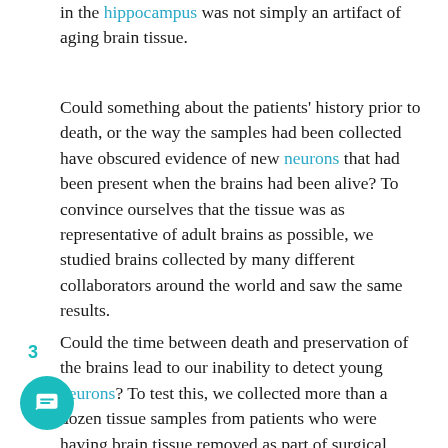in the hippocampus was not simply an artifact of aging brain tissue.
Could something about the patients' history prior to death, or the way the samples had been collected have obscured evidence of new neurons that had been present when the brains had been alive? To convince ourselves that the tissue was as representative of adult brains as possible, we studied brains collected by many different collaborators around the world and saw the same results.
Could the time between death and preservation of the brains lead to our inability to detect young neurons? To test this, we collected more than a dozen tissue samples from patients who were having brain tissue removed as part of surgical treatment for severe epilepsy. These are samples we collected and preserved quickly to maximize their quality. In addition, we looked at two samples